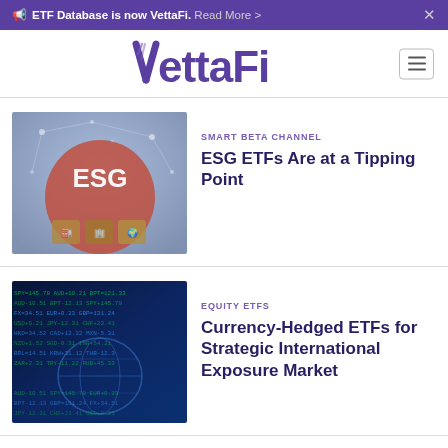ETF Database is now VettaFi. Read More >
[Figure (logo): VettaFi logo with hamburger menu]
[Figure (photo): Person holding ESG wooden blocks with digital network overlay]
SMART BETA CHANNEL
ESG ETFs Are at a Tipping Point
[Figure (photo): Digital financial market data screen with currency trading charts]
EQUITY ETFS
Currency-Hedged ETFs for Strategic International Exposure Market